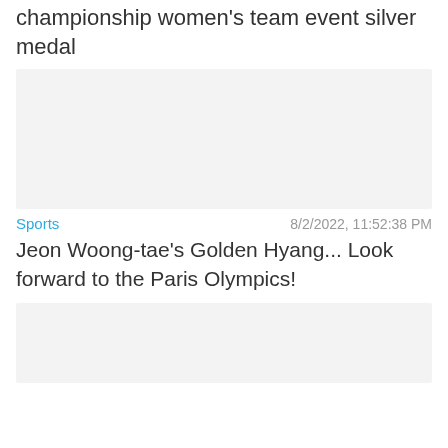championship women's team event silver medal
[Figure (photo): Image placeholder – light gray box representing a photo related to the championship women's team event silver medal article]
Sports   8/2/2022, 11:52:38 PM
Jeon Woong-tae's Golden Hyang... Look forward to the Paris Olympics!
[Figure (photo): Image placeholder – light gray box representing a photo related to the Jeon Woong-tae Paris Olympics article]